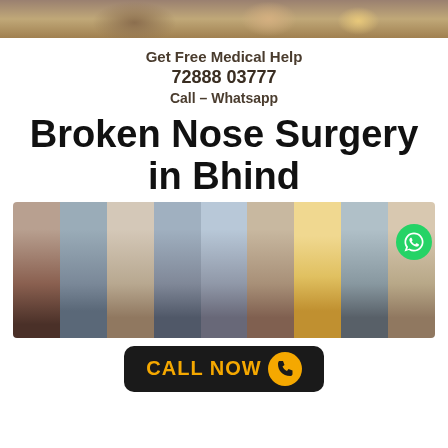[Figure (photo): Partial view of group of people at the top of the page, cropped banner image]
Get Free Medical Help
72888 03777
Call – Whatsapp
Broken Nose Surgery in Bhind
[Figure (photo): Collage of multiple people shown in profile/side view strips, with WhatsApp icon overlay in top right corner]
[Figure (other): CALL NOW button with phone icon, dark background with orange text]